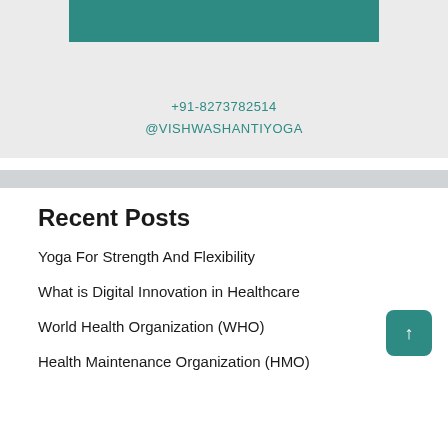[Figure (other): Teal/green banner bar at top of card section, partially cut off]
+91-8273782514
@VISHWASHANTIYOGA
Recent Posts
Yoga For Strength And Flexibility
What is Digital Innovation in Healthcare
World Health Organization (WHO)
Health Maintenance Organization (HMO)